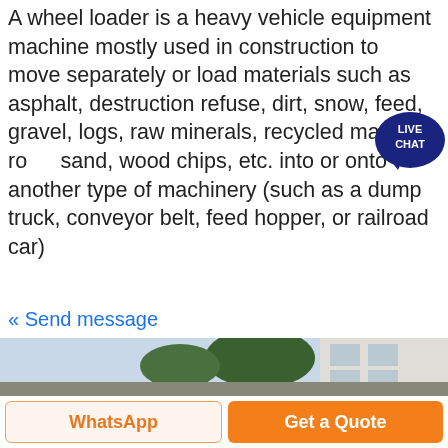A wheel loader is a heavy vehicle equipment machine mostly used in construction to move separately or load materials such as asphalt, destruction refuse, dirt, snow, feed, gravel, logs, raw minerals, recycled material, rock, sand, wood chips, etc. into or onto another type of machinery (such as a dump truck, conveyor belt, feed hopper, or railroad car)
« Send message
[Figure (photo): Photo of an orange backhoe loader / construction machine parked outdoors in front of a building and trees. Watermark reads: ucarrymachine.en.alibaba.com]
WhatsApp
Get a Quote